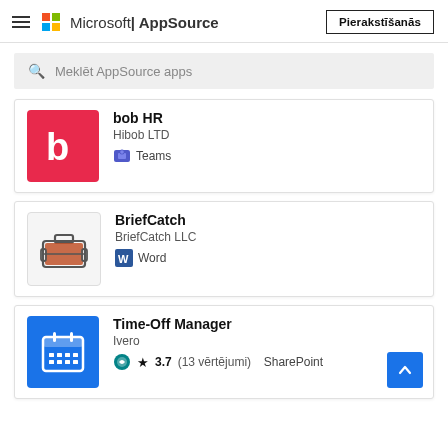Microsoft AppSource
Meklēt AppSource apps
bob HR
Hibob LTD
Teams
BriefCatch
BriefCatch LLC
Word
Time-Off Manager
Ivero
★ 3.7 (13 vērtējumi)
SharePoint